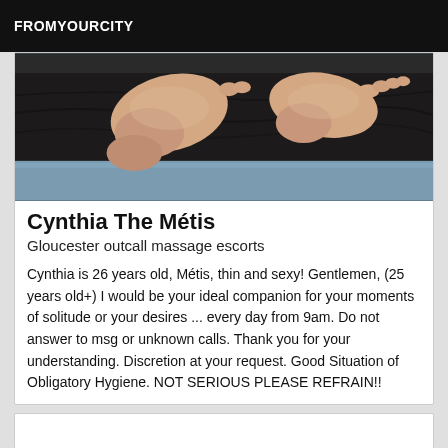FROMYOURCITY
[Figure (photo): Photo of bare feet resting on a dark leather couch with a light blue/grey surface visible below.]
Cynthia The Métis
Gloucester outcall massage escorts
Cynthia is 26 years old, Métis, thin and sexy! Gentlemen, (25 years old+) I would be your ideal companion for your moments of solitude or your desires ... every day from 9am. Do not answer to msg or unknown calls. Thank you for your understanding. Discretion at your request. Good Situation of Obligatory Hygiene. NOT SERIOUS PLEASE REFRAIN!!